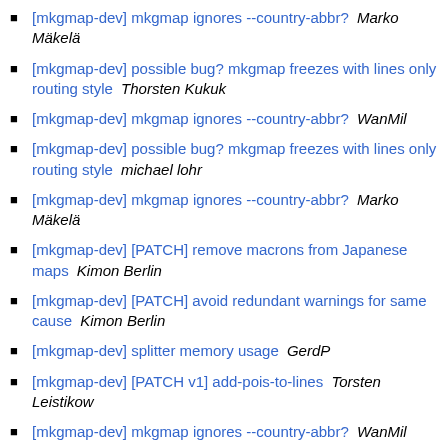[mkgmap-dev] mkgmap ignores --country-abbr?   Marko Mäkelä
[mkgmap-dev] possible bug? mkgmap freezes with lines only routing style   Thorsten Kukuk
[mkgmap-dev] mkgmap ignores --country-abbr?   WanMil
[mkgmap-dev] possible bug? mkgmap freezes with lines only routing style   michael lohr
[mkgmap-dev] mkgmap ignores --country-abbr?   Marko Mäkelä
[mkgmap-dev] [PATCH] remove macrons from Japanese maps   Kimon Berlin
[mkgmap-dev] [PATCH] avoid redundant warnings for same cause   Kimon Berlin
[mkgmap-dev] splitter memory usage   GerdP
[mkgmap-dev] [PATCH v1] add-pois-to-lines   Torsten Leistikow
[mkgmap-dev] mkgmap ignores --country-abbr?   WanMil
[mkgmap-dev] [PATCH v1] add-pois-to-lines   WanMil
[mkgmap-dev] [PATCH v1] add-pois-to-lines   Torsten